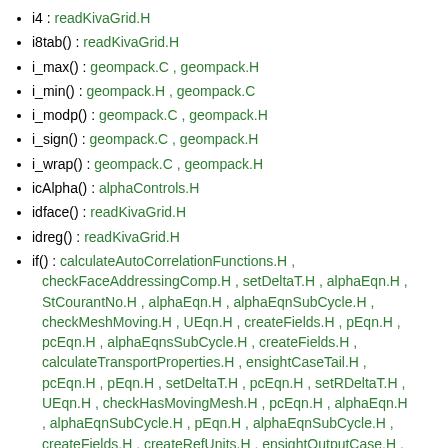i4 : readKivaGrid.H
i8tab() : readKivaGrid.H
i_max() : geompack.C , geompack.H
i_min() : geompack.H , geompack.C
i_modp() : geompack.C , geompack.H
i_sign() : geompack.C , geompack.H
i_wrap() : geompack.C , geompack.H
icAlpha() : alphaControls.H
idface() : readKivaGrid.H
idreg() : readKivaGrid.H
if() : calculateAutoCorrelationFunctions.H , checkFaceAddressingComp.H , setDeltaT.H , alphaEqn.H , StCourantNo.H , alphaEqn.H , alphaEqnSubCycle.H , checkMeshMoving.H , UEqn.H , createFields.H , pEqn.H , pcEqn.H , alphaEqnsSubCycle.H , createFields.H , calculateTransportProperties.H , ensightCaseTail.H , pcEqn.H , pEqn.H , setDeltaT.H , pcEqn.H , setRDeltaT.H , UEqn.H , checkHasMovingMesh.H , pcEqn.H , alphaEqn.H , alphaEqnSubCycle.H , pEqn.H , alphaEqnSubCycle.H , createFields.H , createRefUnits.H , ensightOutputCase.H , pEqn.H , UEqn.H , CourantNo.H , ensightOutputCase.H